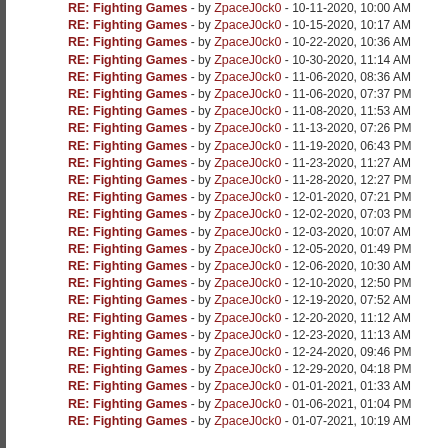RE: Fighting Games - by ZpaceJ0ck0 - 10-11-2020, 10:00 AM
RE: Fighting Games - by ZpaceJ0ck0 - 10-15-2020, 10:17 AM
RE: Fighting Games - by ZpaceJ0ck0 - 10-22-2020, 10:36 AM
RE: Fighting Games - by ZpaceJ0ck0 - 10-30-2020, 11:14 AM
RE: Fighting Games - by ZpaceJ0ck0 - 11-06-2020, 08:36 AM
RE: Fighting Games - by ZpaceJ0ck0 - 11-06-2020, 07:37 PM
RE: Fighting Games - by ZpaceJ0ck0 - 11-08-2020, 11:53 AM
RE: Fighting Games - by ZpaceJ0ck0 - 11-13-2020, 07:26 PM
RE: Fighting Games - by ZpaceJ0ck0 - 11-19-2020, 06:43 PM
RE: Fighting Games - by ZpaceJ0ck0 - 11-23-2020, 11:27 AM
RE: Fighting Games - by ZpaceJ0ck0 - 11-28-2020, 12:27 PM
RE: Fighting Games - by ZpaceJ0ck0 - 12-01-2020, 07:21 PM
RE: Fighting Games - by ZpaceJ0ck0 - 12-02-2020, 07:03 PM
RE: Fighting Games - by ZpaceJ0ck0 - 12-03-2020, 10:07 AM
RE: Fighting Games - by ZpaceJ0ck0 - 12-05-2020, 01:49 PM
RE: Fighting Games - by ZpaceJ0ck0 - 12-06-2020, 10:30 AM
RE: Fighting Games - by ZpaceJ0ck0 - 12-10-2020, 12:50 PM
RE: Fighting Games - by ZpaceJ0ck0 - 12-19-2020, 07:52 AM
RE: Fighting Games - by ZpaceJ0ck0 - 12-20-2020, 11:12 AM
RE: Fighting Games - by ZpaceJ0ck0 - 12-23-2020, 11:13 AM
RE: Fighting Games - by ZpaceJ0ck0 - 12-24-2020, 09:46 PM
RE: Fighting Games - by ZpaceJ0ck0 - 12-29-2020, 04:18 PM
RE: Fighting Games - by ZpaceJ0ck0 - 01-01-2021, 01:33 AM
RE: Fighting Games - by ZpaceJ0ck0 - 01-06-2021, 01:04 PM
RE: Fighting Games - by ZpaceJ0ck0 - 01-07-2021, 10:19 AM